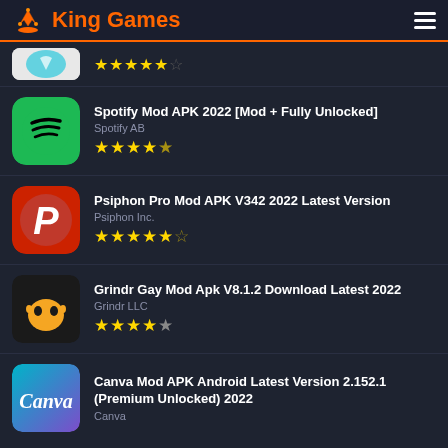King Games
Spotify Mod APK 2022 [Mod + Fully Unlocked] — Spotify AB — 4.5 stars
Psiphon Pro Mod APK V342 2022 Latest Version — Psiphon Inc. — 4.5 stars
Grindr Gay Mod Apk V8.1.2 Download Latest 2022 — Grindr LLC — 4 stars
Canva Mod APK Android Latest Version 2.152.1 (Premium Unlocked) 2022 — Canva